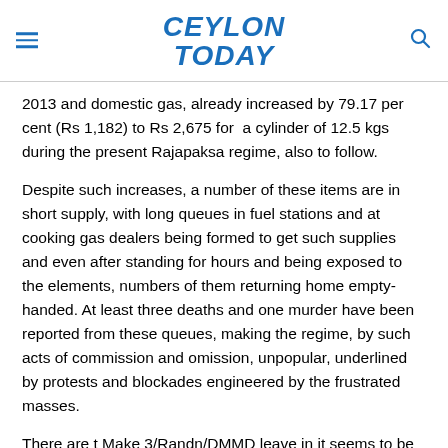CEYLON TODAY
2013 and domestic gas, already increased by 79.17 per cent (Rs 1,182) to Rs 2,675 for  a cylinder of 12.5 kgs during the present Rajapaksa regime, also to follow.
Despite such increases, a number of these items are in short supply, with long queues in fuel stations and at cooking gas dealers being formed to get such supplies and even after standing for hours and being exposed to the elements, numbers of them returning home empty-handed. At least three deaths and one murder have been reported from these queues, making the regime, by such acts of commission and omission, unpopular, underlined by protests and blockades engineered by the frustrated masses.
There are t Make 3/Randn/DMMD leave in it seems to be a...